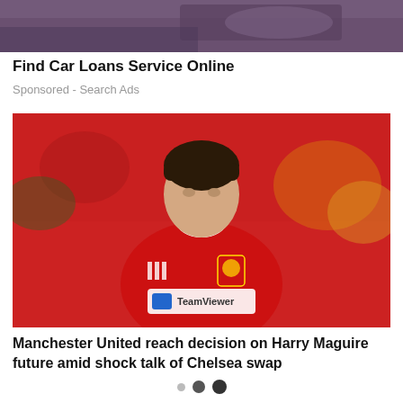[Figure (photo): Partial image cropped at top of page, appears to show a dark/purple themed background, possibly a sports or automotive image]
Find Car Loans Service Online
Sponsored - Search Ads
[Figure (photo): Manchester United footballer Harry Maguire in a red Manchester United jersey with TeamViewer sponsor and Adidas logo, standing on pitch with crowd in background]
Manchester United reach decision on Harry Maguire future amid shock talk of Chelsea swap
• · ·